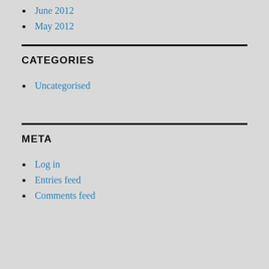June 2012
May 2012
CATEGORIES
Uncategorised
META
Log in
Entries feed
Comments feed